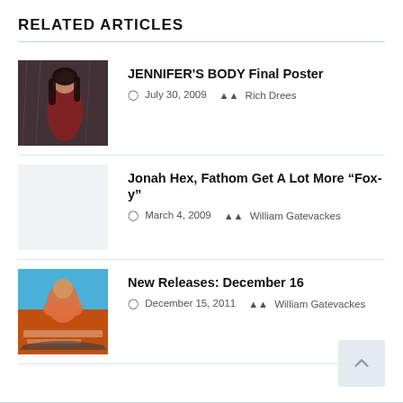RELATED ARTICLES
JENNIFER'S BODY Final Poster | July 30, 2009 | Rich Drees
Jonah Hex, Fathom Get A Lot More “Fox-y” | March 4, 2009 | William Gatevackes
New Releases: December 16 | December 15, 2011 | William Gatevackes